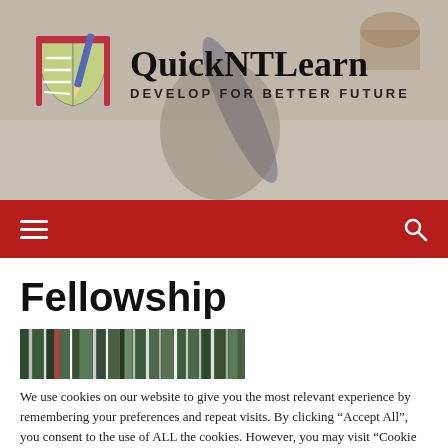[Figure (photo): Background photo showing a person's hand writing with a pencil/pen on paper, with a book logo and QuickNT Learn branding overlay]
QuickNT Learn — DEVELOP FOR BETTER FUTURE
Fellowship
[Figure (photo): Thumbnail image of books/library shelves, green-toned]
We use cookies on our website to give you the most relevant experience by remembering your preferences and repeat visits. By clicking "Accept All", you consent to the use of ALL the cookies. However, you may visit "Cookie Settings" to